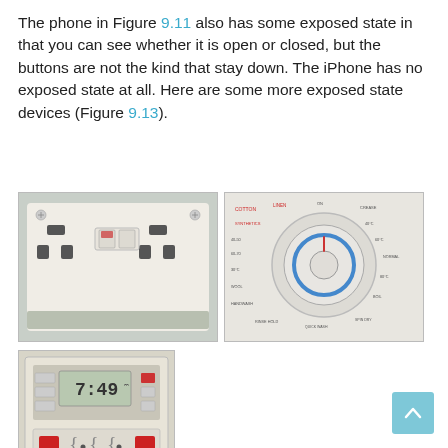The phone in Figure 9.11 also has some exposed state in that you can see whether it is open or closed, but the buttons are not the kind that stay down. The iPhone has no exposed state at all. Here are some more exposed state devices (Figure 9.13).
[Figure (photo): A British double wall socket/outlet with two toggle switches, mounted on a white wall plate]
[Figure (photo): Close-up of a washing machine or appliance dial/knob with program settings printed around it]
[Figure (photo): A digital electricity meter or appliance control panel showing a digital display reading 7:49 and several buttons]